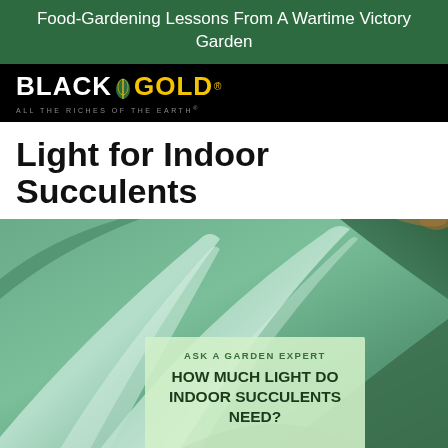Food-Gardening Lessons From A Wartime Victory Garden
[Figure (logo): Black Gold logo — black background, 'BLACK' in white bold text, a green leaf icon, 'GOLD' in yellow bold text with registered trademark symbol, tagline 'ALL THE RICHES OF THE EARTH' in grey small caps]
Light for Indoor Succulents
[Figure (photo): Close-up photograph of succulent agave-type plant with large smooth blue-green leaves fanning outward, with an overlay box reading 'ASK A GARDEN EXPERT — HOW MUCH LIGHT DO INDOOR SUCCULENTS NEED?']